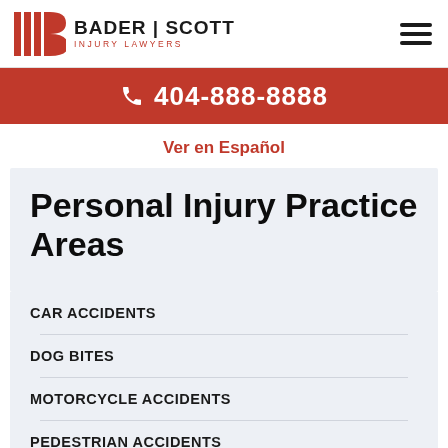[Figure (logo): Bader Scott Injury Lawyers logo with stylized IB lettermark in red and firm name]
404-888-8888
Ver en Español
Personal Injury Practice Areas
CAR ACCIDENTS
DOG BITES
MOTORCYCLE ACCIDENTS
PEDESTRIAN ACCIDENTS
PREMISES LIABILITY